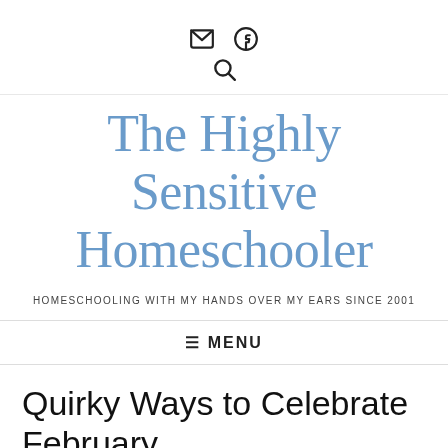Email | Facebook | Search icons
The Highly Sensitive Homeschooler
HOMESCHOOLING WITH MY HANDS OVER MY EARS SINCE 2001
☰ MENU
Quirky Ways to Celebrate February
Posted on February 2, 2016 by Amy